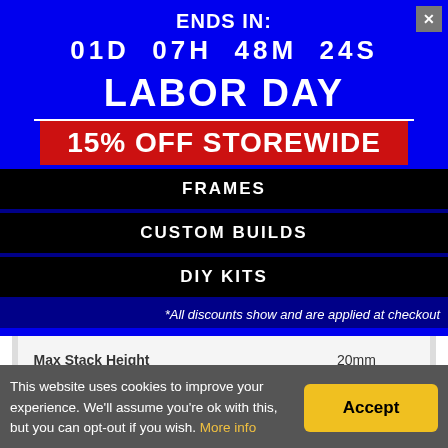ENDS IN:
01D  07H  48M  24S
LABOR DAY
15% OFF STOREWIDE
FRAMES
CUSTOM BUILDS
DIY KITS
*All discounts show and are applied at checkout
| Property | Value |
| --- | --- |
| Max Stack Height | 20mm |
| Warrantied Parts | All |
| Recommended Components |  |
| Motor Size | 2306 |
This website uses cookies to improve your experience. We'll assume you're ok with this, but you can opt-out if you wish. More info